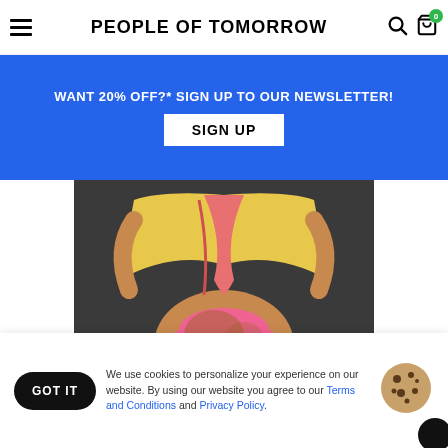PEOPLE OF TOMORROW
WANT 20% OFF?* SIGN UP TO OUR NEWSLETTER!
SIGN UP
[Figure (illustration): Stylized pop-art illustration of a figure in a yellow robe with pink/salmon fabric, viewed from behind, wearing pink underwear]
We use cookies to personalize your experience on our website. By using our website you agree to our Terms and Conditions and Privacy Policy.
GOT IT